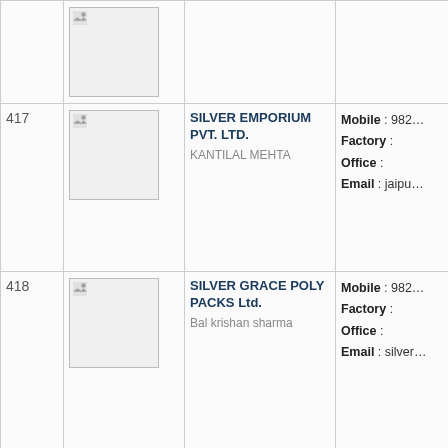| # | Image | Company | Contact |
| --- | --- | --- | --- |
|  |  |  |  |
| 417 | [image] | SILVER EMPORIUM PVT. LTD.
KANTILAL MEHTA | Mobile : 982...
Factory :
Office :
Email : jaipu... |
| 418 | [image] | SILVER GRACE POLY PACKS Ltd.
Bal krishan sharma | Mobile : 982...
Factory :
Office :
Email : silver... |
|  |  |  |  |